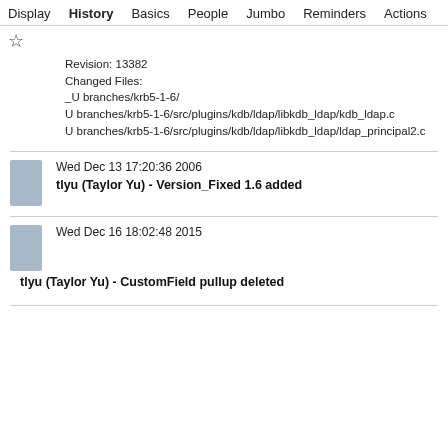Display  History  Basics  People  Jumbo  Reminders  Actions
Revision: 13382
Changed Files:
_U branches/krb5-1-6/
U branches/krb5-1-6/src/plugins/kdb/ldap/libkdb_ldap/kdb_ldap.c
U branches/krb5-1-6/src/plugins/kdb/ldap/libkdb_ldap/ldap_principal2.c
Wed Dec 13 17:20:36 2006
tlyu (Taylor Yu) - Version_Fixed 1.6 added
Wed Dec 16 18:02:48 2015
tlyu (Taylor Yu) - CustomField pullup deleted